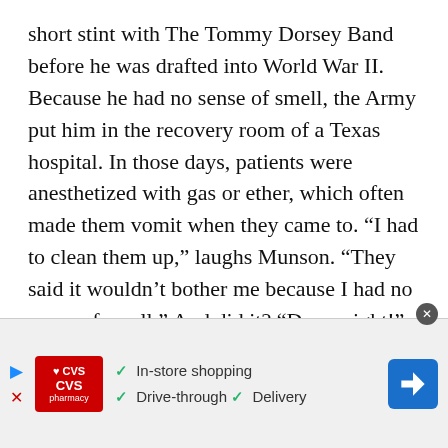short stint with The Tommy Dorsey Band before he was drafted into World War II. Because he had no sense of smell, the Army put him in the recovery room of a Texas hospital. In those days, patients were anesthetized with gas or ether, which often made them vomit when they came to. “I had to clean them up,” laughs Munson. “They said it wouldn’t bother me because I had no sense of smell.” And did it? “Damn right!”
At the end of the war, he took his $200 discharge pay
[Figure (other): CVS Pharmacy advertisement banner showing logo, in-store shopping, drive-through and delivery options with a blue navigation arrow icon]